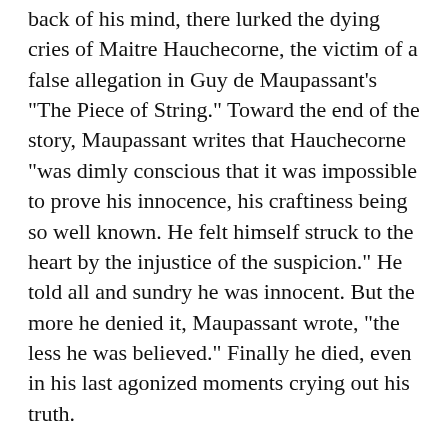back of his mind, there lurked the dying cries of Maitre Hauchecorne, the victim of a false allegation in Guy de Maupassant's "The Piece of String." Toward the end of the story, Maupassant writes that Hauchecorne "was dimly conscious that it was impossible to prove his innocence, his craftiness being so well known. He felt himself struck to the heart by the injustice of the suspicion." He told all and sundry he was innocent. But the more he denied it, Maupassant wrote, "the less he was believed." Finally he died, even in his last agonized moments crying out his truth.
Shurtleff says he doesn't want to become like Hauchecorne. "I've got to leave all that," he says. "If we can hold some people accountable and get ourselves secured financially," then, he says, that will be enough.